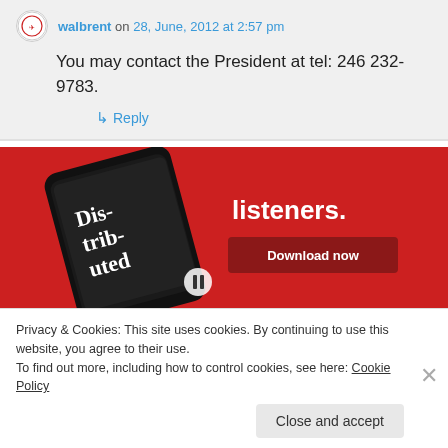walbrent on 28, June, 2012 at 2:57 pm
You may contact the President at tel: 246 232-9783.
↳ Reply
[Figure (photo): Advertisement banner showing a smartphone app with 'Dis-trib-uted' text and 'listeners.' headline, with a 'Download now' button on a red background.]
Privacy & Cookies: This site uses cookies. By continuing to use this website, you agree to their use.
To find out more, including how to control cookies, see here: Cookie Policy
Close and accept